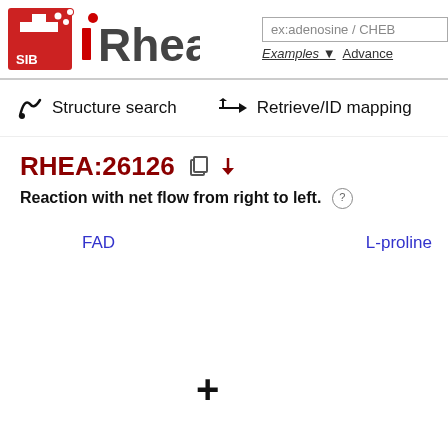[Figure (logo): SIB Swiss Institute of Bioinformatics logo (red square with white cross and molecular structure icon) followed by 'Rhea' text logo with red stylized i]
ex:adenosine / CHEB
Examples ▼   Advanced
🖊 Structure search
→← Retrieve/ID mapping
RHEA:26126
Reaction with net flow from right to left.
FAD
L-proline
+